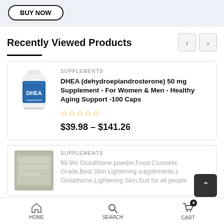[Figure (screenshot): BUY NOW button with rounded border on light blue-grey background]
Recently Viewed Products
[Figure (photo): DHEA supplement bottle - white bottle with blue label reading DHEA]
SUPPLEMENTS
DHEA (dehydroepiandrosterone) 50 mg Supplement - For Women & Men - Healthy Aging Support -100 Caps
☆☆☆☆☆
$39.98 – $141.26
SUPPLEMENTS
99.9% Glutathione powder,Food Cosmetic Grade,Best Skin Lightening supplements,L Glutathione,Lightening Skin,Suit for all people
HOME   SEARCH   CART